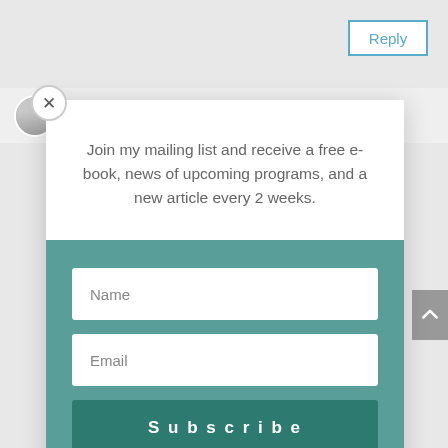[Figure (screenshot): Reply button in top right corner, styled with blue border and blue text on white background]
Stephanie on August 30, 2007 at 7:16 pm
[Figure (screenshot): Modal popup with close X button, mailing list signup form. White top section with text, teal bottom section with Name and Email input fields and Subscribe button.]
Join my mailing list and receive a free e-book, news of upcoming programs, and a new article every 2 weeks.